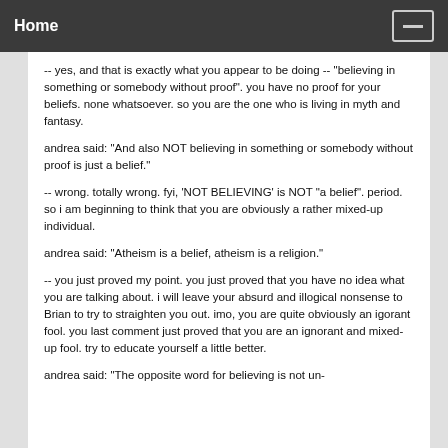Home
-- yes, and that is exactly what you appear to be doing -- "believing in something or somebody without proof". you have no proof for your beliefs. none whatsoever. so you are the one who is living in myth and fantasy.
andrea said: "And also NOT believing in something or somebody without proof is just a belief."
-- wrong. totally wrong. fyi, 'NOT BELIEVING' is NOT "a belief". period. so i am beginning to think that you are obviously a rather mixed-up individual.
andrea said: "Atheism is a belief, atheism is a religion."
-- you just proved my point. you just proved that you have no idea what you are talking about. i will leave your absurd and illogical nonsense to Brian to try to straighten you out. imo, you are quite obviously an igorant fool. you last comment just proved that you are an ignorant and mixed-up fool. try to educate yourself a little better.
andrea said: "The opposite word for believing is not un-